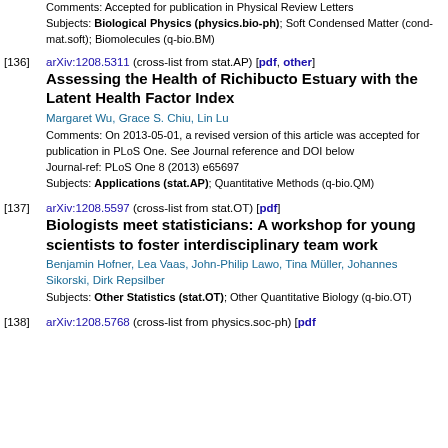Comments: Accepted for publication in Physical Review Letters
Subjects: Biological Physics (physics.bio-ph); Soft Condensed Matter (cond-mat.soft); Biomolecules (q-bio.BM)
[136] arXiv:1208.5311 (cross-list from stat.AP) [pdf, other]
Assessing the Health of Richibucto Estuary with the Latent Health Factor Index
Margaret Wu, Grace S. Chiu, Lin Lu
Comments: On 2013-05-01, a revised version of this article was accepted for publication in PLoS One. See Journal reference and DOI below
Journal-ref: PLoS One 8 (2013) e65697
Subjects: Applications (stat.AP); Quantitative Methods (q-bio.QM)
[137] arXiv:1208.5597 (cross-list from stat.OT) [pdf]
Biologists meet statisticians: A workshop for young scientists to foster interdisciplinary team work
Benjamin Hofner, Lea Vaas, John-Philip Lawo, Tina Müller, Johannes Sikorski, Dirk Repsilber
Subjects: Other Statistics (stat.OT); Other Quantitative Biology (q-bio.OT)
[138] arXiv:1208.5768 (cross-list from physics.soc-ph) [pdf